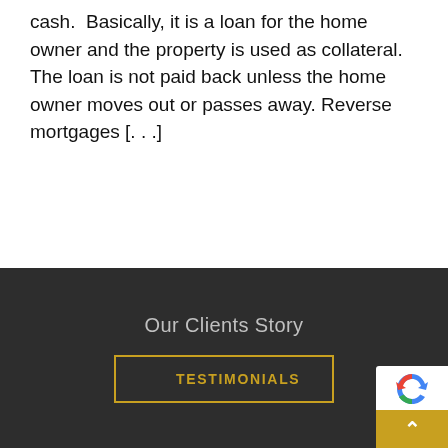cash.  Basically, it is a loan for the home owner and the property is used as collateral.  The loan is not paid back unless the home owner moves out or passes away. Reverse mortgages [. . .]
Our Clients Story
TESTIMONIALS